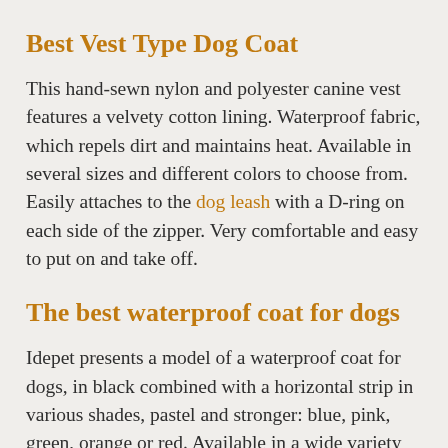Best Vest Type Dog Coat
This hand-sewn nylon and polyester canine vest features a velvety cotton lining. Waterproof fabric, which repels dirt and maintains heat. Available in several sizes and different colors to choose from. Easily attaches to the dog leash with a D-ring on each side of the zipper. Very comfortable and easy to put on and take off.
The best waterproof coat for dogs
Idepet presents a model of a waterproof coat for dogs, in black combined with a horizontal strip in various shades, pastel and stronger: blue, pink, green, orange or red. Available in a wide variety of sizes, from s to xxx-large and 5XL. Made of